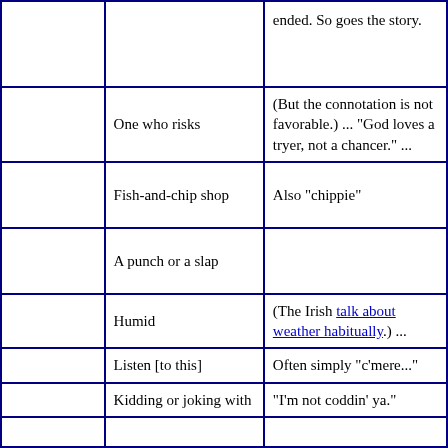|  |  |  |
| --- | --- | --- |
|  |  | ended. So goes the story. |
|  | One who risks | (But the connotation is not favorable.) ... "God loves a tryer, not a chancer." ... |
|  | Fish-and-chip shop | Also "chippie" |
|  | A punch or a slap |  |
|  | Humid | (The Irish talk about weather habitually.) ... |
|  | Listen [to this] | Often simply "c'mere..." |
|  | Kidding or joking with | "I'm not coddin' ya." |
|  |  |  |